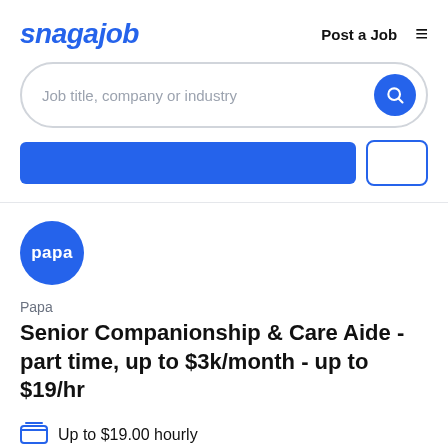snagajob — Post a Job ☰
Job title, company or industry
[Figure (screenshot): Blue filter button and white bordered filter box]
[Figure (logo): Papa company logo — blue circle with white text 'papa']
Papa
Senior Companionship & Care Aide - part time, up to $3k/month - up to $19/hr
Up to $19.00 hourly
Part time